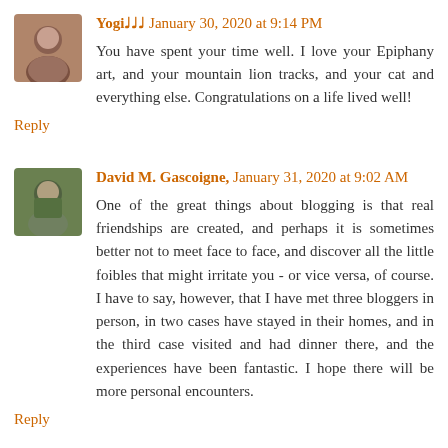Yogi♩♩♩ January 30, 2020 at 9:14 PM
You have spent your time well. I love your Epiphany art, and your mountain lion tracks, and your cat and everything else. Congratulations on a life lived well!
Reply
David M. Gascoigne, January 31, 2020 at 9:02 AM
One of the great things about blogging is that real friendships are created, and perhaps it is sometimes better not to meet face to face, and discover all the little foibles that might irritate you - or vice versa, of course. I have to say, however, that I have met three bloggers in person, in two cases have stayed in their homes, and in the third case visited and had dinner there, and the experiences have been fantastic. I hope there will be more personal encounters.
Reply